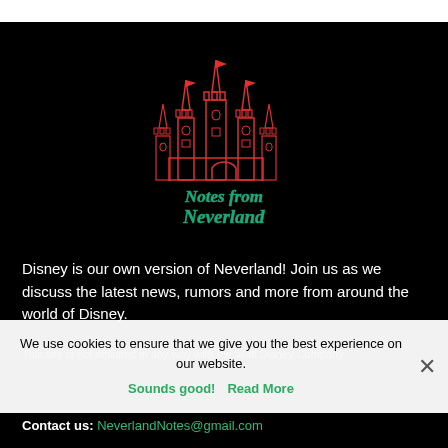[Figure (logo): Notes from Neverland logo: red outline castle/Cinderella castle illustration with teal cursive text reading 'Notes from Neverland' below it, on black background]
Disney is our own version of Neverland! Join us as we discuss the latest news, rumors and more from around the world of Disney.
We use cookies to ensure that we give you the best experience on our website.
Sounds good!  Read More
This site is not affiliated in any way with the Walt Disney Company.
Contact us: NeverlandNotes@gmail.com